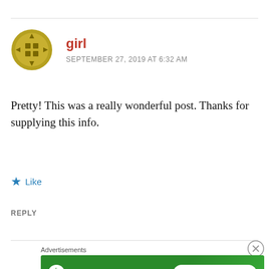[Figure (logo): Gold/olive circular badge avatar with four arrows pointing outward and a 2x2 grid in the center]
girl
SEPTEMBER 27, 2019 AT 6:32 AM
Pretty! This was a really wonderful post. Thanks for supplying this info.
★ Like
REPLY
Advertisements
[Figure (logo): Jetpack advertisement banner with green background, Jetpack logo on left, and 'Back up your site' button on right]